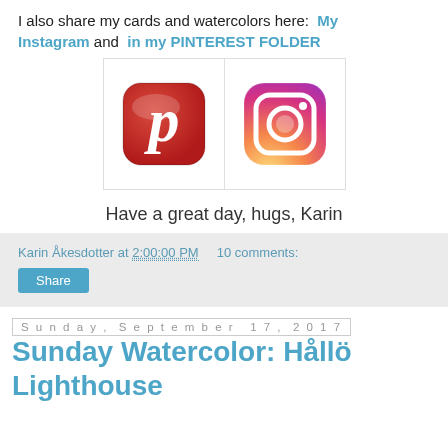I also share my cards and watercolors here:  My Instagram and  in my PINTEREST FOLDER
[Figure (logo): Pinterest logo (red rounded square with white P) and Instagram logo (colorful gradient camera icon), side by side in a white box with border]
Have a great day, hugs, Karin
Karin Åkesdotter at 2:00:00 PM    10 comments:
Share
Sunday, September 17, 2017
Sunday Watercolor: Hållö Lighthouse